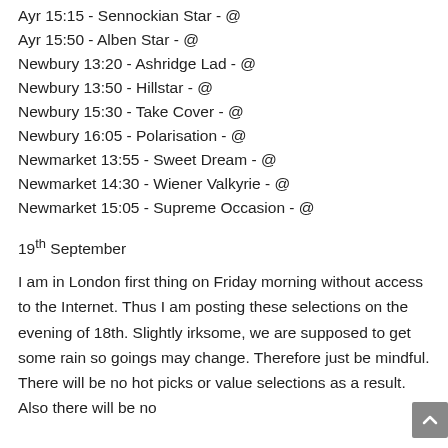Ayr 15:15 - Sennockian Star - @
Ayr 15:50 - Alben Star - @
Newbury 13:20 - Ashridge Lad - @
Newbury 13:50 - Hillstar - @
Newbury 15:30 - Take Cover - @
Newbury 16:05 - Polarisation - @
Newmarket 13:55 - Sweet Dream - @
Newmarket 14:30 - Wiener Valkyrie - @
Newmarket 15:05 - Supreme Occasion - @
19th September
I am in London first thing on Friday morning without access to the Internet. Thus I am posting these selections on the evening of 18th. Slightly irksome, we are supposed to get some rain so goings may change. Therefore just be mindful. There will be no hot picks or value selections as a result. Also there will be no